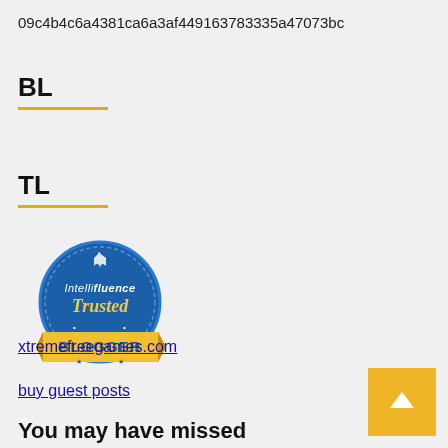09c4b4c6a4381ca6a3af449163783335a47073bc
BL
TL
[Figure (logo): Intellifluence Trusted Blogger badge - circular blue badge with yellow banner reading BLOGGER]
xtremefreegames.com
buy guest posts
You may have missed